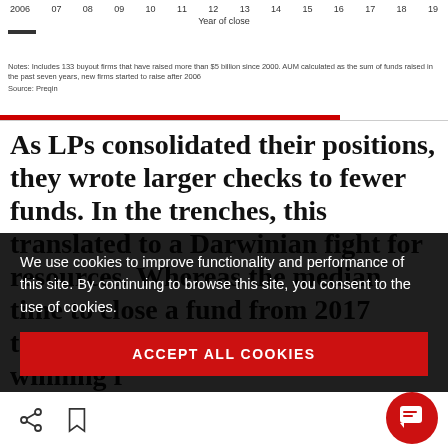[Figure (other): Chart x-axis showing years 2006 through 19 with label 'Year of close' and a legend with double line]
Notes: Includes 133 buyout firms that have raised more than $5 billion since 2000. AUM calculated as the sum of funds raised in the past seven years, new firms started to raise after 2006
Source: Preqin
As LPs consolidated their positions, they wrote larger checks to fewer funds. In the trenches, this translated to a Darwinian fight for resources. Whereas the median time to close a fund from 2017 through 2019 was six months for winning f...
We use cookies to improve functionality and performance of this site. By continuing to browse this site, you consent to the use of cookies.
ACCEPT ALL COOKIES